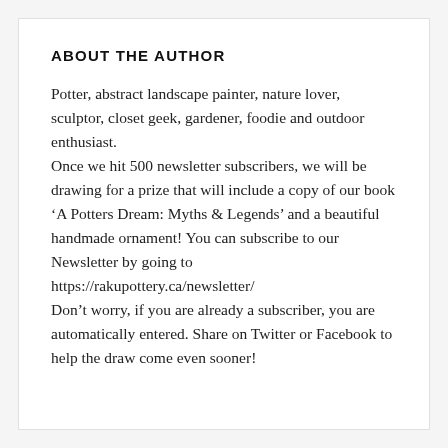ABOUT THE AUTHOR
Potter, abstract landscape painter, nature lover, sculptor, closet geek, gardener, foodie and outdoor enthusiast.
Once we hit 500 newsletter subscribers, we will be drawing for a prize that will include a copy of our book ‘A Potters Dream: Myths & Legends’ and a beautiful handmade ornament! You can subscribe to our Newsletter by going to https://rakupottery.ca/newsletter/
Don’t worry, if you are already a subscriber, you are automatically entered. Share on Twitter or Facebook to help the draw come even sooner!